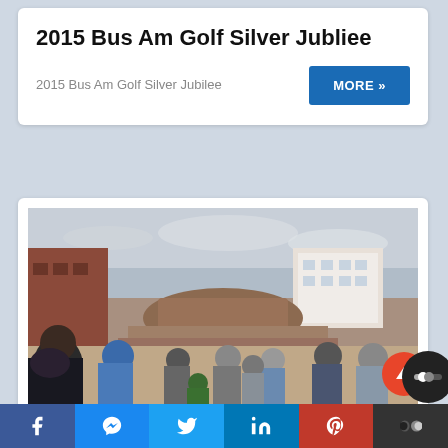2015 Bus Am Golf Silver Jubliee
2015 Bus Am Golf Silver Jubilee
[Figure (photo): Crowd of people gathered around collapsed or damaged brick structures in an urban area, likely aftermath of an earthquake.]
f  [messenger]  [twitter]  in  [pinterest]  [toggle]